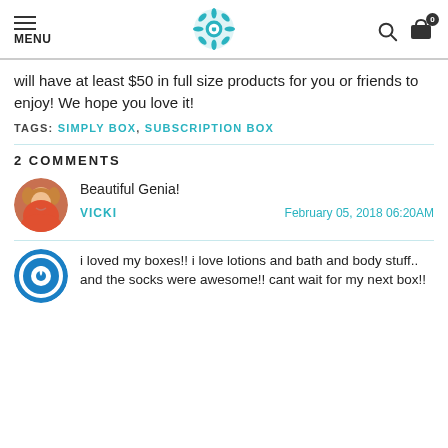MENU [logo] [search] [cart 0]
will have at least $50 in full size products for you or friends to enjoy! We hope you love it!
TAGS: SIMPLY BOX, SUBSCRIPTION BOX
2 COMMENTS
Beautiful Genia!
VICKI    February 05, 2018 06:20AM
i loved my boxes!! i love lotions and bath and body stuff.. and the socks were awesome!! cant wait for my next box!!